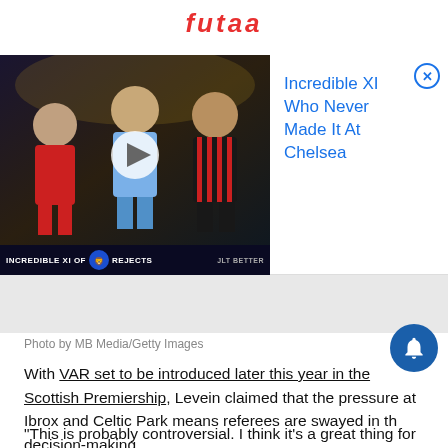futaa
[Figure (screenshot): Advertisement banner: video thumbnail on left showing football players with text 'INCREDIBLE XI OF CHELSEA REJECTS', and ad text on right reading 'Incredible XI Who Never Made It At Chelsea' with close button]
Photo by MB Media/Getty Images
With VAR set to be introduced later this year in the Scottish Premiership, Levein claimed that the pressure at Ibrox and Celtic Park means referees are swayed in their decision-making.
“This is probably controversial. I think it’s a great thing for Scottish football but maybe not so good for the Old Firm."